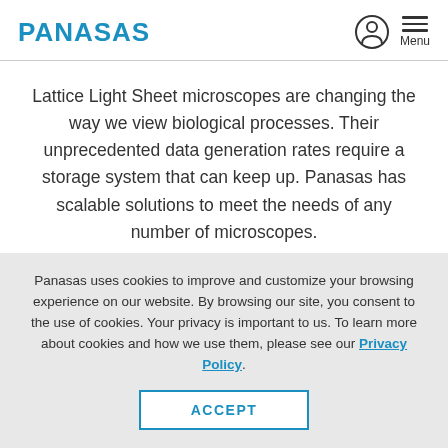PANASAS
Lattice Light Sheet microscopes are changing the way we view biological processes. Their unprecedented data generation rates require a storage system that can keep up. Panasas has scalable solutions to meet the needs of any number of microscopes.
Panasas uses cookies to improve and customize your browsing experience on our website. By browsing our site, you consent to the use of cookies. Your privacy is important to us. To learn more about cookies and how we use them, please see our Privacy Policy.